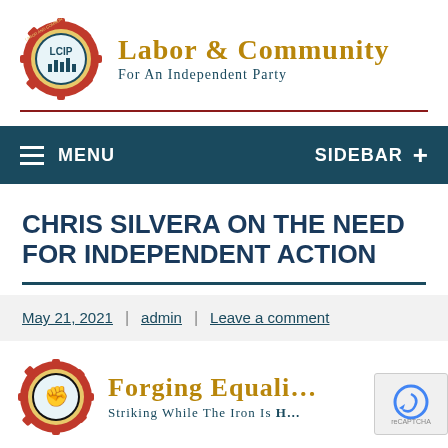[Figure (logo): LCIP gear/cog logo with cityscape inside]
Labor & Community For An Independent Party
MENU | SIDEBAR +
CHRIS SILVERA ON THE NEED FOR INDEPENDENT ACTION
May 21, 2021 | admin | Leave a comment
[Figure (logo): LCIP gear logo with fist, partial book cover: Forging Equality Striking While The Iron Is Hot]